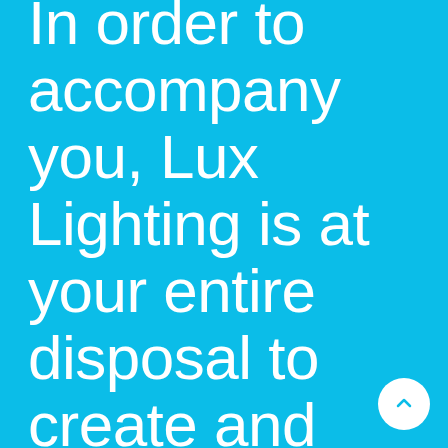In order to accompany you, Lux Lighting is at your entire disposal to create and develop with you, and for you, innovative connected decorative ensembles adapted to your